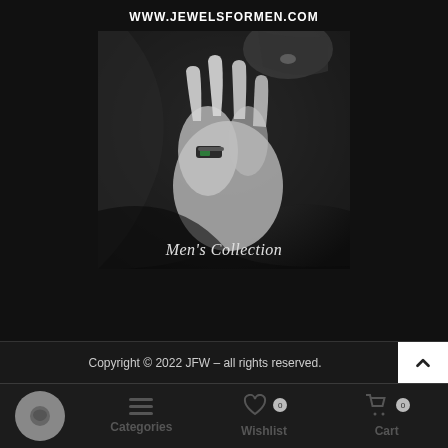WWW.JEWELSFORMEN.COM
[Figure (photo): Black and white photo of a man's hand wearing a ring with a green gemstone, adjusting dark clothing, with a beard visible. Text overlay reads "Men's Collection".]
Copyright © 2022 JFW – all rights reserved.